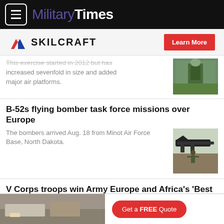MilitaryTimes
[Figure (logo): SKILCRAFT logo with red/blue chevron and Learn More red button]
This exercise started in 2012 but has increased sevenfold in size and added major air platforms.
[Figure (photo): Soldier in field with equipment]
B-52s flying bomber task force missions over Europe
The bombers arrived Aug. 18 from Minot Air Force Base, North Dakota.
[Figure (photo): Soldier with arms raised in front of B-52 bomber on runway]
V Corps troops win Army Europe and Africa's 'Best Squad' competition
[Figure (photo): Helicopter rotor visible at bottom right]
[Figure (photo): Kitchen interior ad image with Get a FREE Quote button]